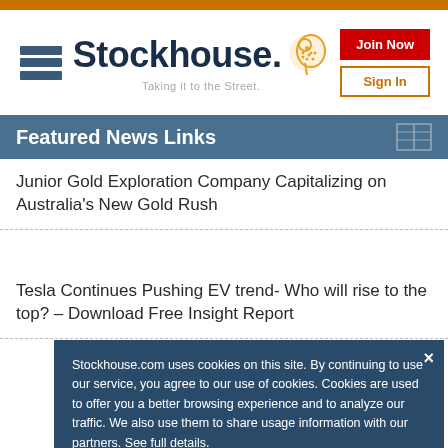Stockhouse — Taking it to the Street.
Featured News Links
Junior Gold Exploration Company Capitalizing on Australia's New Gold Rush
Tesla Continues Pushing EV trend- Who will rise to the top? – Download Free Insight Report
Stockhouse.com uses cookies on this site. By continuing to use our service, you agree to our use of cookies. Cookies are used to offer you a better browsing experience and to analyze our traffic. We also use them to share usage information with our partners. See full details.